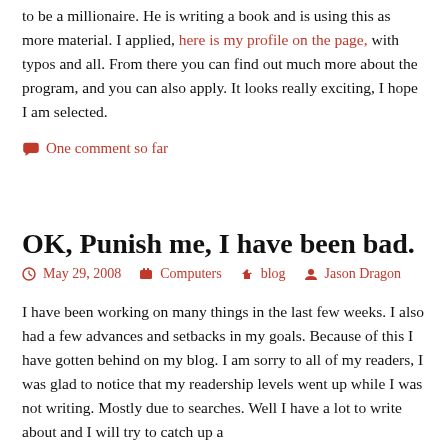to be a millionaire. He is writing a book and is using this as more material. I applied, here is my profile on the page, with typos and all. From there you can find out much more about the program, and you can also apply.  It looks really exciting, I hope I am selected.
One comment so far
OK, Punish me, I have been bad.
May 29, 2008    Computers    blog    Jason Dragon
I have been working on many things in the last few weeks.  I also had a few advances and setbacks in my goals.  Because of this I have gotten behind on my blog.  I am sorry to all of my readers, I was glad to notice that my readership levels went up while I was not writing.  Mostly due to searches.  Well I have a lot to write about and I will try to catch up a